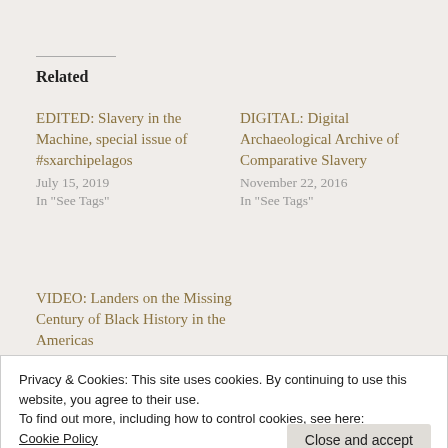Related
EDITED: Slavery in the Machine, special issue of #sxarchipelagos
July 15, 2019
In "See Tags"
DIGITAL: Digital Archaeological Archive of Comparative Slavery
November 22, 2016
In "See Tags"
VIDEO: Landers on the Missing Century of Black History in the Americas
December 16, 2016
Privacy & Cookies: This site uses cookies. By continuing to use this website, you agree to their use.
To find out more, including how to control cookies, see here:
Cookie Policy
Jean-Pierre Le Glaunec, Karen Needles, Mariza de